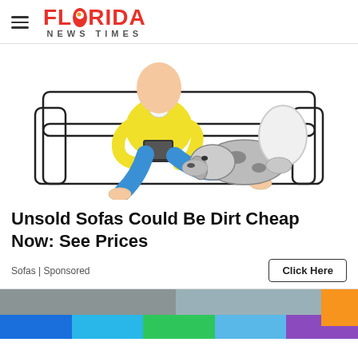Florida News Times
[Figure (illustration): Illustration of a person in yellow shirt and blue pants sitting on a white couch, holding a tablet or phone, with a sleeping dog beside them on the couch]
Unsold Sofas Could Be Dirt Cheap Now: See Prices
Sofas | Sponsored
[Figure (photo): Partial photo visible at bottom of page with orange block and color bar below it]